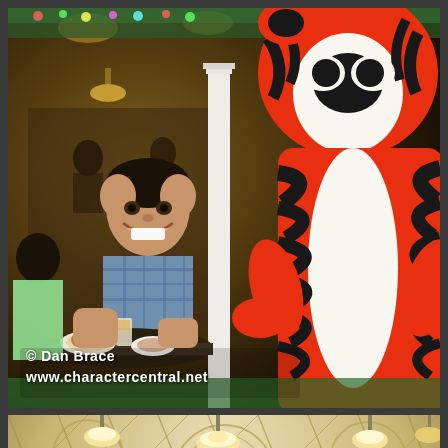[Figure (photo): Photo of a smiling Asian man sitting at a restaurant table with food and drinks, posing next to Tigger (from Winnie the Pooh) character in a Disney park restaurant. Tigger is in full character costume with red and black stripes and white belly. Restaurant has ornate lighting and green carpet. Watermark reads '© Dan Brace www.charactercentral.net']
[Figure (photo): Partial photo of Disney character dining experience showing ornate restaurant interior with decorative ceiling, hanging lights, floral decorations, and partially visible character costumes including what appears to be red/black and pink character heads in foreground.]